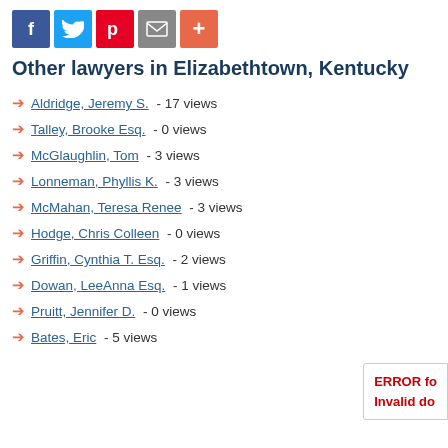[Figure (other): Social sharing icons: Facebook (blue), Twitter (light blue), Pinterest (red), Email (grey), Plus/More (orange-red)]
Other lawyers in Elizabethtown, Kentucky
Aldridge, Jeremy S. - 17 views
Talley, Brooke Esq. - 0 views
McGlaughlin, Tom - 3 views
Lonneman, Phyllis K. - 3 views
McMahan, Teresa Renee - 3 views
Hodge, Chris Colleen - 0 views
Griffin, Cynthia T. Esq. - 2 views
Dowan, LeeAnna Esq. - 1 views
Pruitt, Jennifer D. - 0 views
Bates, Eric - 5 views